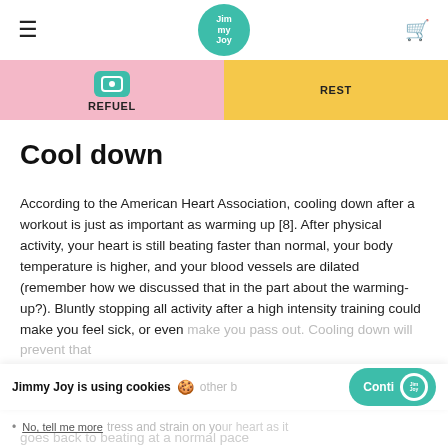Jimmy Joy (logo)
REFUEL  REST
Cool down
According to the American Heart Association, cooling down after a workout is just as important as warming up [8]. After physical activity, your heart is still beating faster than normal, your body temperature is higher, and your blood vessels are dilated (remember how we discussed that in the part about the warming-up?). Bluntly stopping all activity after a high intensity training could make you feel sick, or even make you pass out. Cooling down will prevent th... other b...
Jimmy Joy is using cookies 🍪  other b
No, tell me more  ...tress and strain on your heart as it goes back to beating at a normal pace